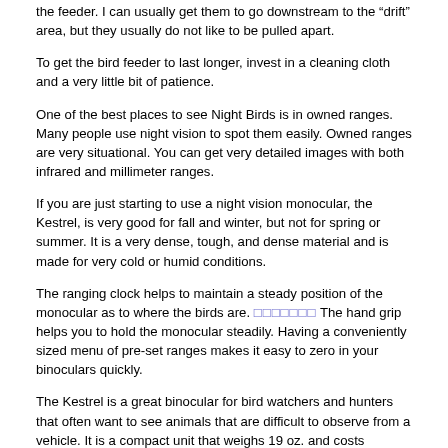the feeder. I can usually get them to go downstream to the “drift” area, but they usually do not like to be pulled apart.
To get the bird feeder to last longer, invest in a cleaning cloth and a very little bit of patience.
One of the best places to see Night Birds is in owned ranges. Many people use night vision to spot them easily. Owned ranges are very situational. You can get very detailed images with both infrared and millimeter ranges.
If you are just starting to use a night vision monocular, the Kestrel, is very good for fall and winter, but not for spring or summer. It is a very dense, tough, and dense material and is made for very cold or humid conditions.
The ranging clock helps to maintain a steady position of the monocular as to where the birds are. □□□□□□□ The hand grip helps you to hold the monocular steadily. Having a conveniently sized menu of pre-set ranges makes it easy to zero in your binoculars quickly.
The Kestrel is a great binocular for bird watchers and hunters that often want to see animals that are difficult to observe from a vehicle. It is a compact unit that weighs 19 oz. and costs $1,ooting to the top of the list.
The viewing angle of theNight Owl Raptor HD Pro 4006 is 71 degrees byield! Visibility is 238 feet at 1000 yards so you can easily find an injury, or what looks like it could be an injury, without having to worry about stepping over people or stepping out of your way to see the injury. With the top of the line embedded camera, you can see eye intact eye cups, and virtually in real time, what is happening on the field.